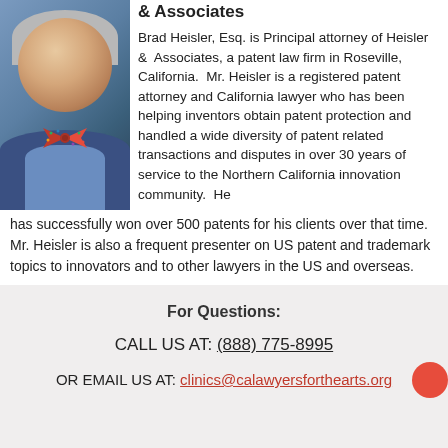& Associates
[Figure (photo): Portrait photo of Brad Heisler, Esq. — a middle-aged man with grey hair wearing a blue suit and colorful bow tie, smiling]
Brad Heisler, Esq. is Principal attorney of Heisler & Associates, a patent law firm in Roseville, California. Mr. Heisler is a registered patent attorney and California lawyer who has been helping inventors obtain patent protection and handled a wide diversity of patent related transactions and disputes in over 30 years of service to the Northern California innovation community. He has successfully won over 500 patents for his clients over that time. Mr. Heisler is also a frequent presenter on US patent and trademark topics to innovators and to other lawyers in the US and overseas.
For Questions:
CALL US AT: (888) 775-8995
OR EMAIL US AT: clinics@calawyersforthearts.org